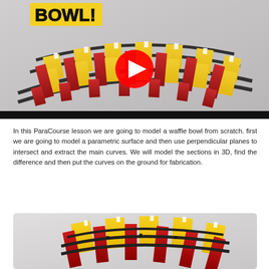[Figure (screenshot): YouTube video thumbnail showing a 3D parametric waffle bowl structure made of intersecting red and yellow panels, with a YouTube play button overlay. Text 'BOWL!' in bold yellow letters with black outline visible in top left corner.]
In this ParaCourse lesson we are going to model a waffle bowl from scratch. first we are going to model a parametric surface and then use perpendicular planes to intersect and extract the main curves. We will model the sections in 3D, find the difference and then put the curves on the ground for fabrication.
[Figure (screenshot): 3D rendering of a partial waffle bowl structure showing yellow and red intersecting panels arranged in a grid pattern on a light grey background, viewed from an angle. Only the bottom portion is visible as the image is cut off.]